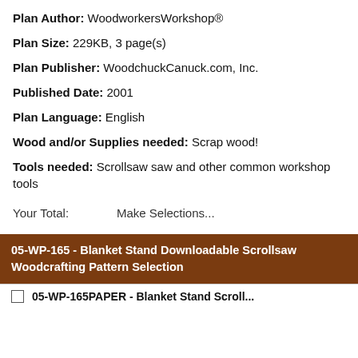Plan Author: WoodworkersWorkshop®
Plan Size: 229KB, 3 page(s)
Plan Publisher: WoodchuckCanuck.com, Inc.
Published Date: 2001
Plan Language: English
Wood and/or Supplies needed: Scrap wood!
Tools needed: Scrollsaw saw and other common workshop tools
Your Total:    Make Selections...
05-WP-165 - Blanket Stand Downloadable Scrollsaw Woodcrafting Pattern Selection
05-WP-165PAPER - Blanket Stand Scroll...